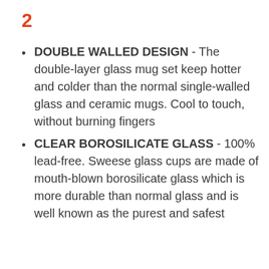2
DOUBLE WALLED DESIGN - The double-layer glass mug set keep hotter and colder than the normal single-walled glass and ceramic mugs. Cool to touch, without burning fingers
CLEAR BOROSILICATE GLASS - 100% lead-free. Sweese glass cups are made of mouth-blown borosilicate glass which is more durable than normal glass and is well known as the purest and safest